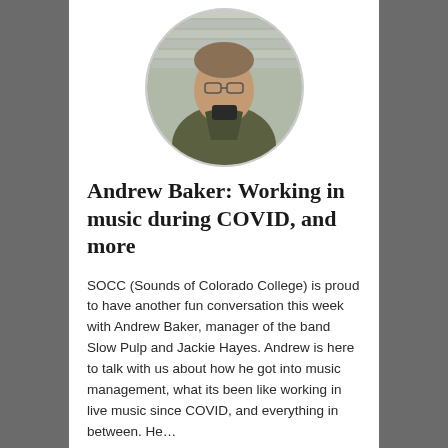[Figure (photo): Circular portrait photo of Andrew Baker, a young man wearing glasses and a dark olive/green jacket, standing outdoors in front of a building with horizontal siding.]
Andrew Baker: Working in music during COVID, and more
SOCC (Sounds of Colorado College) is proud to have another fun conversation this week with Andrew Baker, manager of the band Slow Pulp and Jackie Hayes. Andrew is here to talk with us about how he got into music management, what its been like working in live music since COVID, and everything in between. He…
December 8, 2020 in Arts, Events, Media & Film.